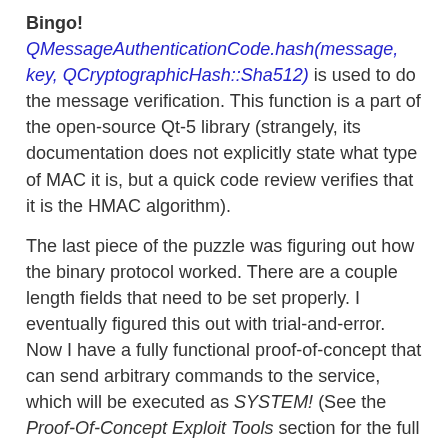Bingo! QMessageAuthenticationCode.hash(message, key, QCryptographicHash::Sha512) is used to do the message verification. This function is a part of the open-source Qt-5 library (strangely, its documentation does not explicitly state what type of MAC it is, but a quick code review verifies that it is the HMAC algorithm).
The last piece of the puzzle was figuring out how the binary protocol worked. There are a couple length fields that need to be set properly. I eventually figured this out with trial-and-error. Now I have a fully functional proof-of-concept that can send arbitrary commands to the service, which will be executed as SYSTEM! (See the Proof-Of-Concept Exploit Tools section for the full source code.)
Let's try it out: